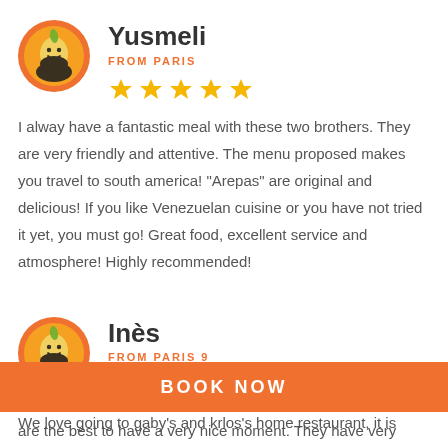[Figure (illustration): Circular avatar with orange background showing a cartoon food character (avocado/corn shape with smiley face) for reviewer Yusmeli]
Yusmeli
FROM PARIS
[Figure (other): 5 gold/yellow star rating icons]
I alway have a fantastic meal with these two brothers. They are very friendly and attentive. The menu proposed makes you travel to south america! "Arepas" are original and delicious! If you like Venezuelan cuisine or you have not tried it yet, you must go! Great food, excellent service and atmosphere! Highly recommended!
[Figure (illustration): Circular avatar with orange background showing a cartoon food character (avocado/corn shape with smiley face) for reviewer Inès]
Inès
FROM PARIS 9
[Figure (other): 5 gold/yellow star rating icons]
We love going to gaby's and krlos's home restaurant, it is
BOOK NOW
are the best to have a very nice moment. They have very